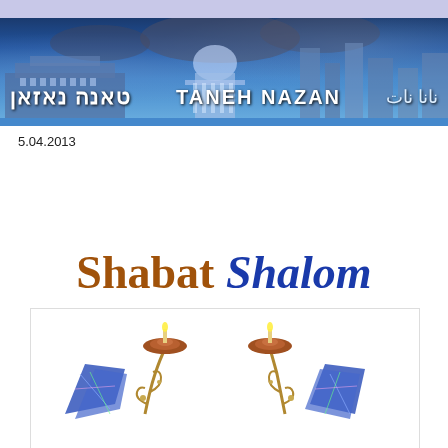TANEH NAZAN (banner with Hebrew and Arabic text)
5.04.2013
Shabat Shalom
[Figure (photo): Two decorative Shabbat candlesticks made of brass/copper with blue stained glass wings and flower-shaped tops, artistic Judaica candle holders]